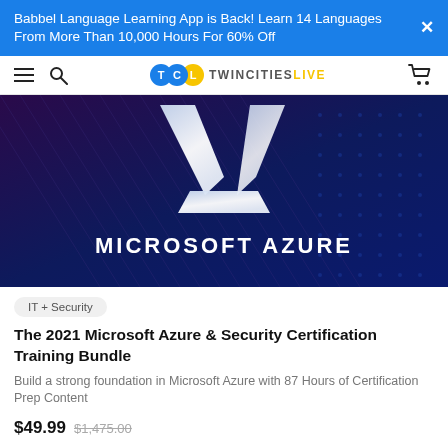Babbel Language Learning App is Back! Learn 14 Languages From More Than 10,000 Hours For 60% Off
[Figure (logo): Twin Cities Live (TCL) website navigation bar with hamburger menu, search icon, TCL logo, and shopping cart icon]
[Figure (photo): Microsoft Azure promotional banner image with large white Azure logo (stylized 'A') on a dark navy/purple diagonal striped background with the text 'MICROSOFT AZURE' in white]
IT + Security
The 2021 Microsoft Azure & Security Certification Training Bundle
Build a strong foundation in Microsoft Azure with 87 Hours of Certification Prep Content
$49.99  $1,475.00